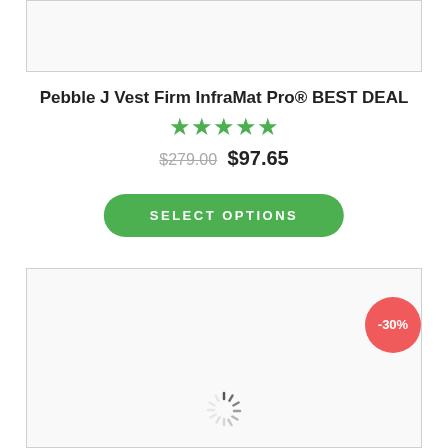[Figure (photo): Top product image placeholder box, mostly white/light gray]
Pebble J Vest Firm InfraMat Pro® BEST DEAL
[Figure (other): Five green star rating icons]
$279.00 $97.65
SELECT OPTIONS
[Figure (photo): Bottom product image placeholder box with loading spinner and -30% discount badge]